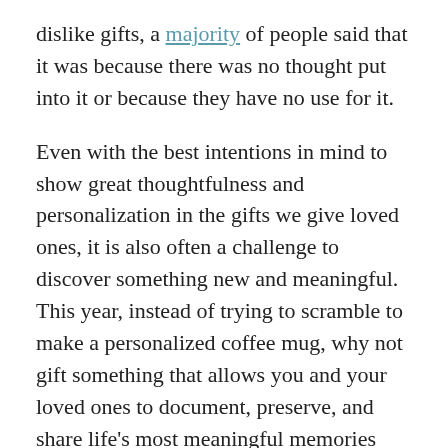dislike gifts, a majority of people said that it was because there was no thought put into it or because they have no use for it.
Even with the best intentions in mind to show great thoughtfulness and personalization in the gifts we give loved ones, it is also often a challenge to discover something new and meaningful. This year, instead of trying to scramble to make a personalized coffee mug, why not gift something that allows you and your loved ones to document, preserve, and share life's most meaningful memories and the stories that go untold? A gift that is wholly unique, just to the person you are giving it to?
Quilted is a one-stop shop for the gift that allows us to connect to a deeper family story. This holiday season,